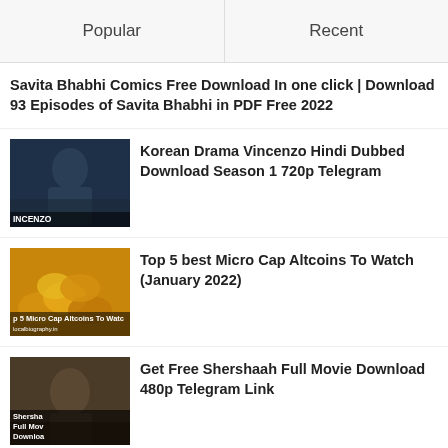Popular
Recent
Savita Bhabhi Comics Free Download In one click | Download 93 Episodes of Savita Bhabhi in PDF Free 2022
Korean Drama Vincenzo Hindi Dubbed Download Season 1 720p Telegram
Top 5 best Micro Cap Altcoins To Watch (January 2022)
Get Free Shershaah Full Movie Download 480p Telegram Link